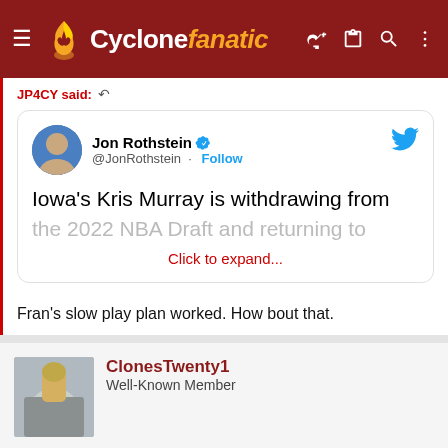Cyclonefanatic
JP4CY said:
[Figure (screenshot): Embedded tweet from Jon Rothstein (@JonRothstein) with verified badge and Follow button. Tweet text: "Iowa's Kris Murray is withdrawing from the 2022 NBA Draft and returning to" with a 'Click to expand...' link below.]
Fran's slow play plan worked. How bout that.
ClonesTwenty1
Well-Known Member
Jun 1, 2022